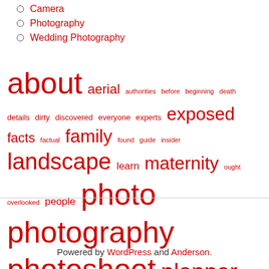Camera
Photography
Wedding Photography
[Figure (infographic): Word cloud with photography-related terms in varying red font sizes. Largest words: photography, photoshoot, wedding, photo, landscape. Smaller words include: about, aerial, authorities, before, beginning, death, details, dirty, discovered, everyone, experts, exposed, facts, factual, family, found, guide, insider, learn, maternity, ought, overlooked, people, planner, professional, report, revealed, saying, secret, shoot, simple, statements, steps, strategies, strategy, today, truth, unmasked, unveiled, wrong.]
Powered by WordPress and Anderson.